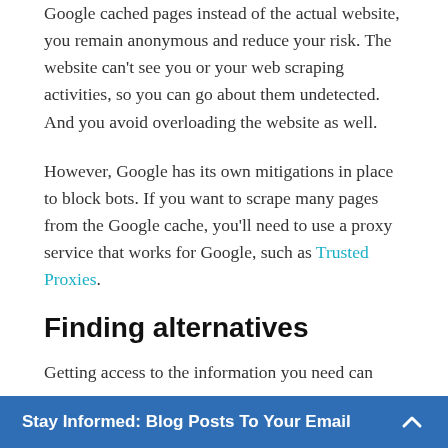Google cached pages instead of the actual website, you remain anonymous and reduce your risk. The website can't see you or your web scraping activities, so you can go about them undetected. And you avoid overloading the website as well.
However, Google has its own mitigations in place to block bots. If you want to scrape many pages from the Google cache, you'll need to use a proxy service that works for Google, such as Trusted Proxies.
Finding alternatives
Getting access to the information you need can
Stay Informed: Blog Posts To Your Email